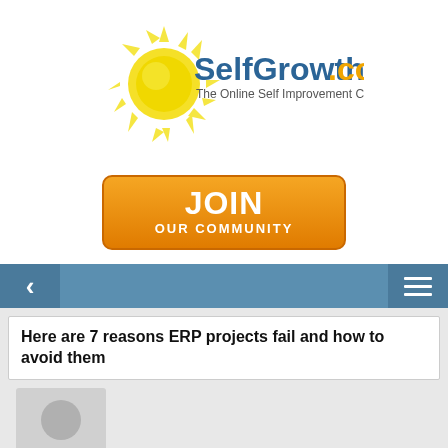[Figure (logo): SelfGrowth.com logo with sun graphic and tagline 'The Online Self Improvement Community']
[Figure (illustration): Orange JOIN OUR COMMUNITY button]
[Figure (screenshot): Navigation bar with back arrow and hamburger menu on blue background]
Here are 7 reasons ERP projects fail and how to avoid them
[Figure (photo): Generic grey silhouette avatar placeholder for author profile photo]